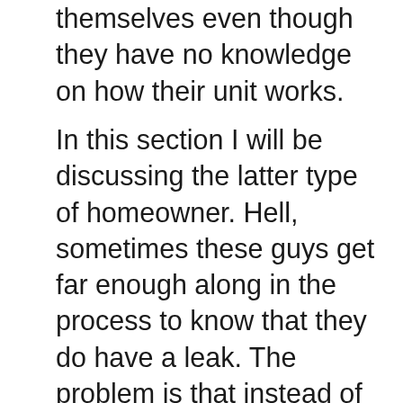themselves even though they have no knowledge on how their unit works.
In this section I will be discussing the latter type of homeowner. Hell, sometimes these guys get far enough along in the process to know that they do have a leak. The problem is that instead of calling for service they decide to go pick up some 410A themselves and top off their unit. What these guys don't know is that a properly functioning AC is supposed to be one-hundred percent completely sealed. No refrigerant should ever be getting out. It's an endless cycle of liquid to gas over and over again. If you have refrigerant escaping then there is another problem. By adding more refrigerant to the system the only thing you are doing is